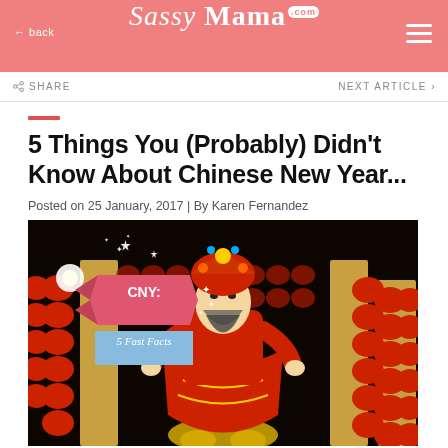Sassy Mama .com
← back
SHARE   NEXT ARTICLE ›
5 Things You (Probably) Didn't Know About Chinese New Year...
Posted on 25 January, 2017 | By Karen Fernandez
[Figure (photo): Large illuminated Chinese New Year display featuring a giant traditional Chinese deity figure dressed in red robes, surrounded by rows of red lanterns. Overlaid text reads 'CNY: 5 Fast Facts' on a banner graphic.]